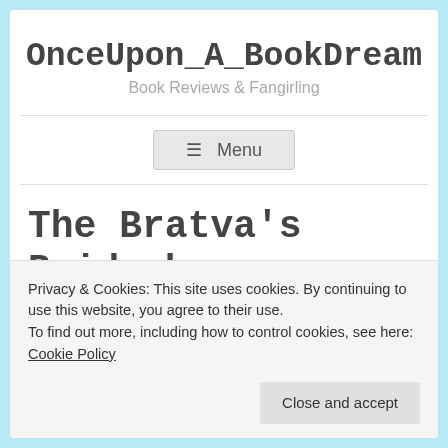OnceUpon_A_BookDream
Book Reviews & Fangirling
≡ Menu
The Bratva's Bride by Jane Henry _ Blog Tour &
Privacy & Cookies: This site uses cookies. By continuing to use this website, you agree to their use.
To find out more, including how to control cookies, see here: Cookie Policy
Close and accept